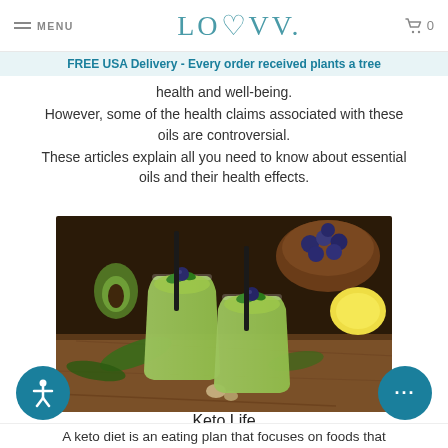MENU   LOVV.   0
FREE USA Delivery - Every order received plants a tree
health and well-being.
However, some of the health claims associated with these oils are controversial.
These articles explain all you need to know about essential oils and their health effects.
[Figure (photo): Two green smoothie drinks in glasses with black straws, topped with blueberries, on a wooden table. A bowl of blueberries, a lemon, and green leaves visible in the background.]
Keto Life
A keto diet is an eating plan that focuses on foods that